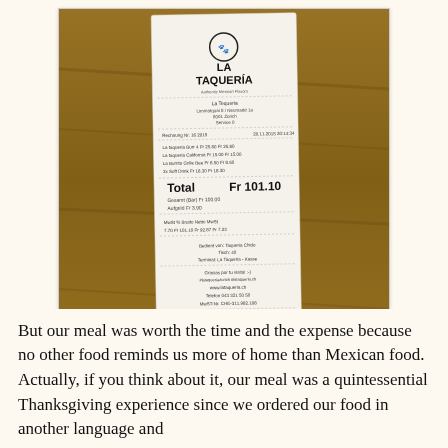[Figure (photo): A photo of a restaurant receipt from La Taqueria in Zurich, Switzerland, showing a total of Fr 101.10, placed on a wooden table.]
Can you imagine these prices in the US?
But our meal was worth the time and the expense because no other food reminds us more of home than Mexican food. Actually, if you think about it, our meal was a quintessential Thanksgiving experience since we ordered our food in another language and